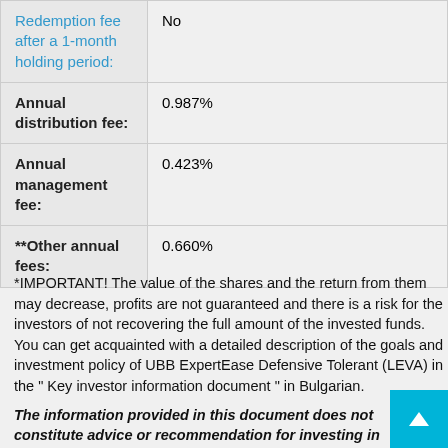| Fee type | Value |
| --- | --- |
| Redemption fee after a 1-month holding period: | No |
| Annual distribution fee: | 0.987% |
| Annual management fee: | 0.423% |
| **Other annual fees: | 0.660% |
*IMPORTANT! The value of the shares and the return from them may decrease, profits are not guaranteed and there is a risk for the investors of not recovering the full amount of the invested funds.
You can get acquainted with a detailed description of the goals and investment policy of UBB ExpertEase Defensive Tolerant (LEVA) in the " Key investor information document " in Bulgarian.
The information provided in this document does not constitute advice or recommendation for investing in financial instruments and should not be interpret as su